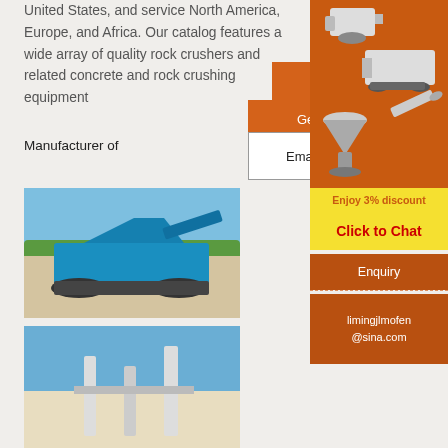United States, and service North America, Europe, and Africa. Our catalog features a wide array of quality rock crushers and related concrete and rock crushing equipment
More
Get Price
Manufacturer of
Email contact
[Figure (photo): Blue tracked mobile crushing machine parked on a gravel surface with trees and blue sky in background]
[Figure (photo): Construction/crushing equipment on site with blue sky background]
[Figure (photo): Sidebar advertisement showing multiple orange/grey mining crushers and mill equipment on orange background]
Enjoy 3% discount
Click to Chat
Enquiry
limingjlmofen @sina.com